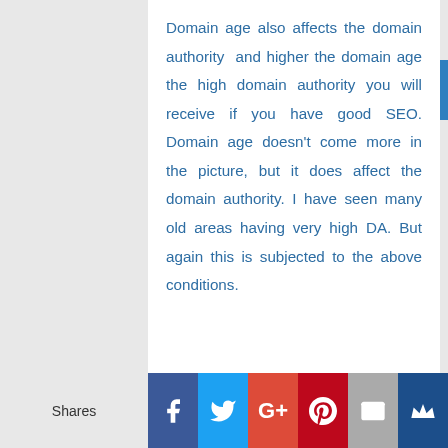Domain age also affects the domain authority and higher the domain age the high domain authority you will receive if you have good SEO. Domain age doesn't come more in the picture, but it does affect the domain authority. I have seen many old areas having very high DA. But again this is subjected to the above conditions.
Shares [Facebook] [Twitter] [G+] [Pinterest] [Email] [Crown]